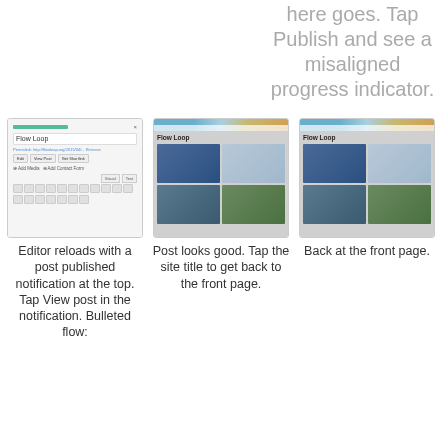here goes. Tap Publish and see a misaligned progress indicator.
[Figure (screenshot): WordPress post editor screen showing a post titled 'Flow Loop' with formatting toolbar and permalink]
[Figure (screenshot): WordPress front-end page showing 'Flow Loop' post with a 2x2 photo grid of blue/water images]
[Figure (screenshot): WordPress front page showing 'Flow Loop' post with a 2x2 photo grid, same as previous]
Editor reloads with a post published notification at the top. Tap View post in the notification. Bulleted flow:
Post looks good. Tap the site title to get back to the front page.
Back at the front page.